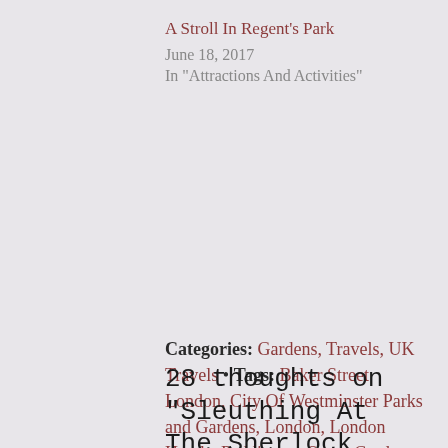A Stroll In Regent's Park
June 18, 2017
In "Attractions And Activities"
Categories: Gardens, Travels, UK Travels • Tags: Baker Street London, City Of Westminster Parks and Gardens, London, London Hotels, Paddington Street Gardens Marylebone, Park Plaza Sherlock Holmes Hotel London, Travels •
28 thoughts on "Sleuthing At The Sherlock Holmes